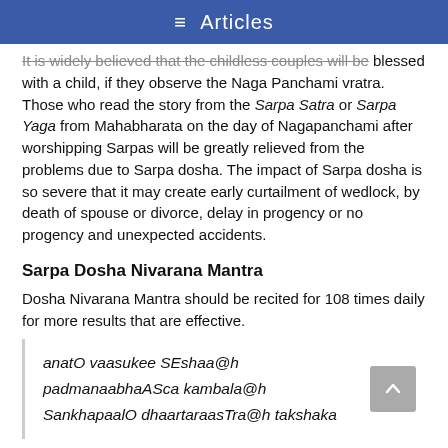≡ Articles
It is widely believed that the childless couples will be blessed with a child, if they observe the Naga Panchami vratra. Those who read the story from the Sarpa Satra or Sarpa Yaga from Mahabharata on the day of Nagapanchami after worshipping Sarpas will be greatly relieved from the problems due to Sarpa dosha. The impact of Sarpa dosha is so severe that it may create early curtailment of wedlock, by death of spouse or divorce, delay in progency or no progency and unexpected accidents.
Sarpa Dosha Nivarana Mantra
Dosha Nivarana Mantra should be recited for 108 times daily for more results that are effective.
anatO vaasukee SEshaa@h padmanaabhaASca kambala@h SankhapaalO dhaartaraasTra@h takshaka